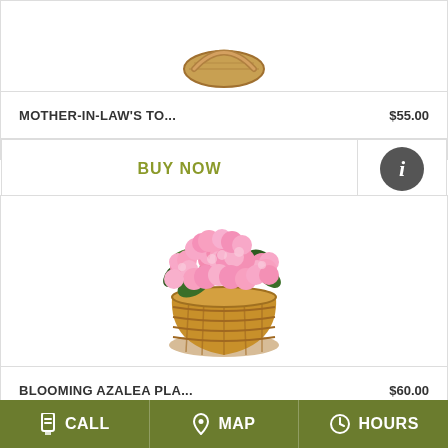[Figure (photo): Partial view of a plant in a wicker basket, top portion only visible]
MOTHER-IN-LAW'S TO...   $55.00
BUY NOW
[Figure (photo): Blooming azalea plant with pink flowers in a wicker basket]
BLOOMING AZALEA PLA...   $60.00
CALL   MAP   HOURS